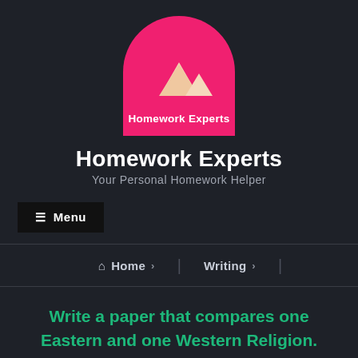[Figure (logo): Homework Experts logo: pink arch/semicircle shape with two white triangle mountain icons and bold white text 'Homework Experts' inside]
Homework Experts
Your Personal Homework Helper
≡ Menu
Home › Writing ›
Write a paper that compares one Eastern and one Western Religion.